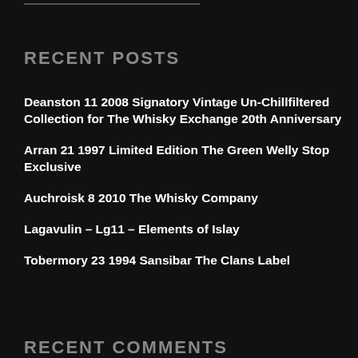RECENT POSTS
Deanston 11 2008 Signatory Vintage Un-Chillfiltered Collection for The Whisky Exchange 20th Anniversary
Arran 21 1997 Limited Edition The Green Welly Stop Exclusive
Auchroisk 8 2010 The Whisky Company
Lagavulin – Lg11 – Elements of Islay
Tobermory 23 1994 Sansibar The Clans Label
RECENT COMMENTS